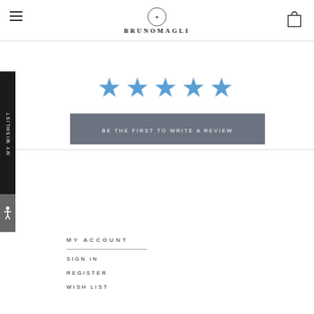BRUNOMAGLI
[Figure (other): Five blue star rating icons in a row]
BE THE FIRST TO WRITE A REVIEW
MY ACCOUNT
SIGN IN
REGISTER
WISH LIST